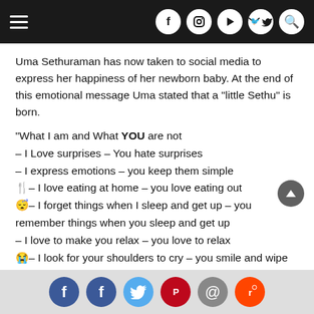Navigation bar with hamburger menu and social icons (Facebook, Instagram, YouTube, Twitter, Search)
Uma Sethuraman has now taken to social media to express her happiness of her newborn baby. At the end of this emotional message Uma stated that a “little Sethu” is born.
“What I am and What YOU are not
– I Love surprises – You hate surprises
– I express emotions – you keep them simple
🍴– I love eating at home – you love eating out
😴– I forget things when I sleep and get up – you remember things when you sleep and get up
– I love to make you relax – you love to relax
😭– I look for your shoulders to cry – you smile and wipe my tears
Social share icons: Facebook, Facebook, Twitter, Pinterest, Email, Reddit